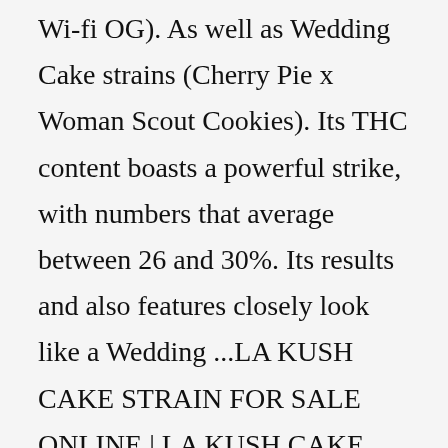Wi-fi OG). As well as Wedding Cake strains (Cherry Pie x Woman Scout Cookies). Its THC content boasts a powerful strike, with numbers that average between 26 and 30%. Its results and also features closely look like a Wedding ...LA KUSH CAKE STRAIN FOR SALE ONLINE | LA KUSH CAKE PRICE. LA Cake, also known as “Los Angeles Cake,” is an evenly balanced hybrid strain (50% indica/50% sativa) created through crossing the infamous